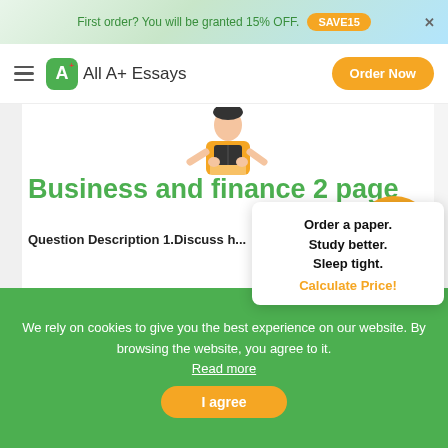First order? You will be granted 15% OFF. SAVE15
All A+ Essays  Order Now
Business and finance 2 page
Question Description 1.Discuss h...
[Figure (infographic): Tooltip popup with text: Order a paper. Study better. Sleep tight. Calculate Price!]
[Figure (illustration): Orange circle with white calculator icon]
We rely on cookies to give you the best experience on our website. By browsing the website, you agree to it. Read more
I agree